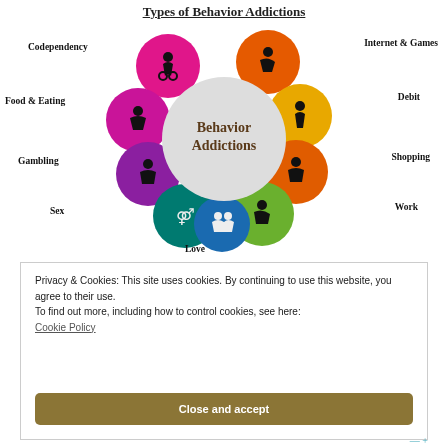Types of Behavior Addictions
[Figure (infographic): Circular diagram showing types of behavior addictions. A central gray circle labeled 'Behavior Addictions' is surrounded by colored circles each representing a type: Codependency (magenta, top-left), Internet & Games (orange, top-right), Food & Eating (magenta, left), Debit (orange-yellow, right), Gambling (purple, lower-left), Shopping (orange, lower-right), Sex (teal, bottom-left), Work (green, bottom-right), Love (blue, bottom-center). Each circle contains a black silhouette icon related to the addiction.]
Privacy & Cookies: This site uses cookies. By continuing to use this website, you agree to their use.
To find out more, including how to control cookies, see here:
Cookie Policy
Close and accept